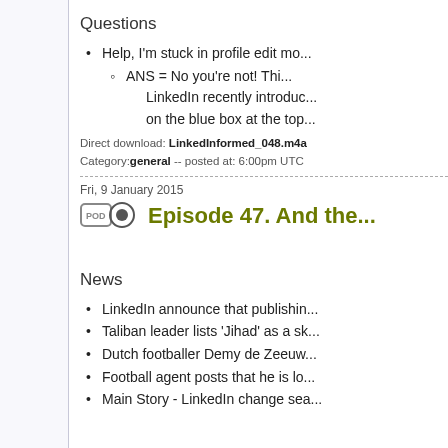Questions
Help, I'm stuck in profile edit mo...
ANS = No you're not! Thi...
LinkedIn recently introduc...
on the blue box at the top...
Direct download: LinkedInformed_048.m4a
Category: general -- posted at: 6:00pm UTC
Fri, 9 January 2015
Episode 47. And the...
News
LinkedIn announce that publishin...
Taliban leader lists 'Jihad' as a sk...
Dutch footballer Demy de Zeeuw...
Football agent posts that he is lo...
Main Story - LinkedIn change sea...